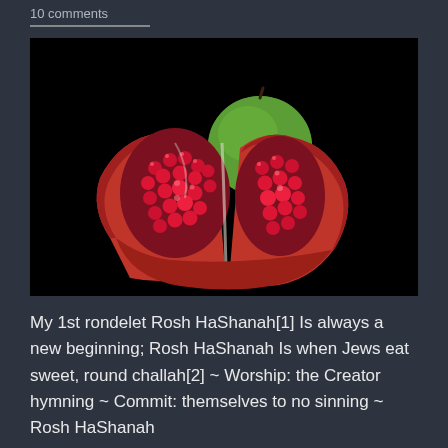10 comments
[Figure (photo): A split-open pomegranate with deep red seeds and a green apple behind it, on a black background.]
My 1st rondelet Rosh HaShanah[1] Is always a new beginning; Rosh HaShanah Is when Jews eat sweet, round challah[2] ~ Worship: the Creator hymning ~ Commit: themselves to no sinning ~ Rosh HaShanah